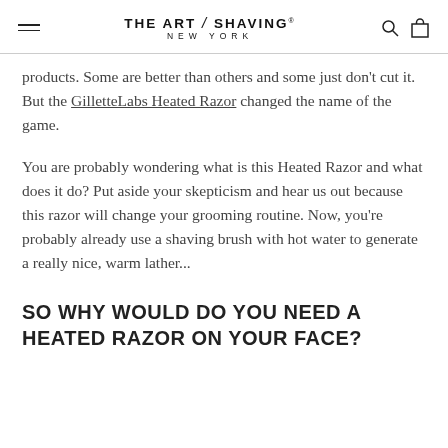THE ART OF SHAVING® NEW YORK
products. Some are better than others and some just don't cut it. But the GilletteLabs Heated Razor changed the name of the game.
You are probably wondering what is this Heated Razor and what does it do? Put aside your skepticism and hear us out because this razor will change your grooming routine. Now, you're probably already use a shaving brush with hot water to generate a really nice, warm lather...
SO WHY WOULD DO YOU NEED A HEATED RAZOR ON YOUR FACE?